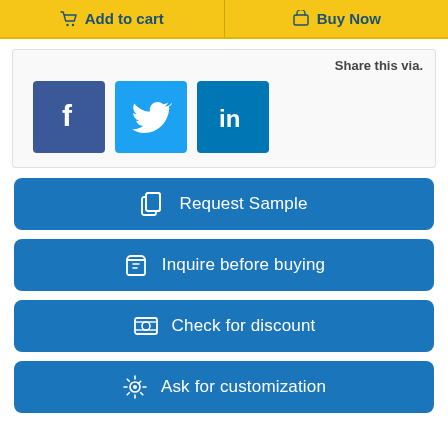[Figure (screenshot): Yellow Add to cart and Buy Now buttons side by side]
[Figure (infographic): Share this via section with Facebook, Twitter, LinkedIn social media icons]
[Figure (infographic): Request Sample blue button]
[Figure (infographic): Inquire before buying blue button]
[Figure (infographic): Check for discount blue button]
[Figure (infographic): Ask for customization blue button]